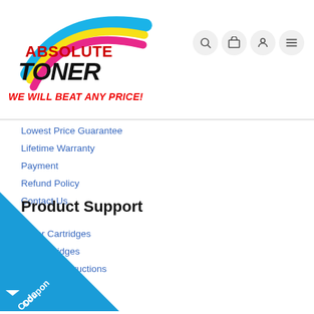[Figure (logo): Absolute Toner logo with colorful arc (cyan, yellow, magenta) and bold 'ABSOLUTE TONER' text]
WE WILL BEAT ANY PRICE!
Lowest Price Guarantee
Lifetime Warranty
Payment
Refund Policy
Contact Us
Product Support
Toner Cartridges
Ink Cartridges
Refill Kit Instructions
Laser Printers
Inkjet Printers
Phone Systems
[Figure (infographic): Blue triangle coupon code overlay in bottom-left corner with 'Coupon Code' text and arrow button]